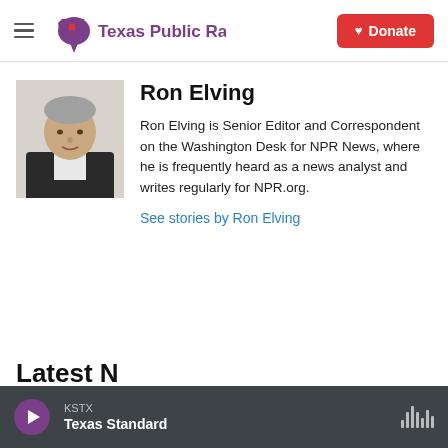Texas Public Radio — Donate
Ron Elving
Ron Elving is Senior Editor and Correspondent on the Washington Desk for NPR News, where he is frequently heard as a news analyst and writes regularly for NPR.org.
See stories by Ron Elving
KSTX Texas Standard